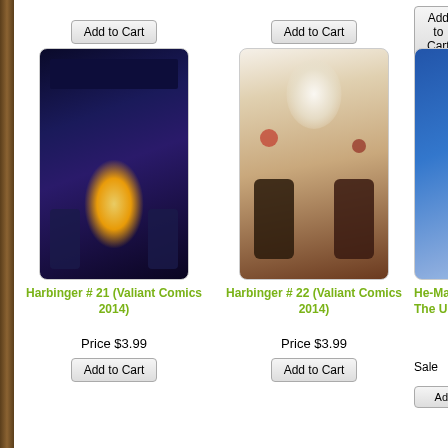[Figure (screenshot): E-commerce comic book store page showing product listings with cover images, titles, prices, and Add to Cart buttons. Products include Harbinger #21, #22 (Valiant Comics 2014), He-Man (partial), Indestructible Hulk #19 (Marvel Comics 2013), Justice League (2013) #28 (DC Comics 2013), Justice League (partial). Two rows of products visible plus partial top row with Add to Cart buttons.]